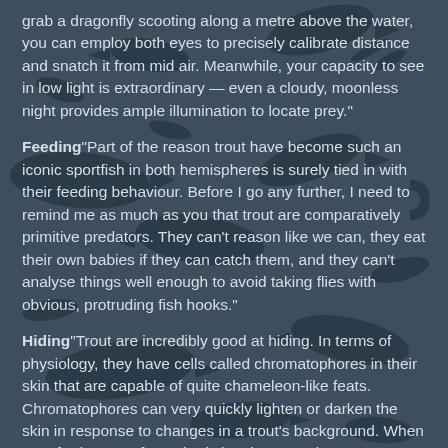grab a dragonfly scooting along a metre above the water, you can employ both eyes to precisely calibrate distance and snatch it from mid air. Meanwhile, your capacity to see in low light is extraordinary — even a cloudy, moonless night provides ample illumination to locate prey."
Feeding"Part of the reason trout have become such an iconic sportfish in both hemispheres is surely tied in with their feeding behaviour. Before I go any further, I need to remind me as much as you that trout are comparatively primitive predators. They can't reason like we can, they eat their own babies if they can catch them, and they can't analyse things well enough to avoid taking flies with obvious, protruding fish hooks."
Hiding"Trout are incredibly good at hiding. In terms of physiology, they have cells called chromatophores in their skin that are capable of quite chameleon-like feats. Chromatophores can very quickly lighten or darken the skin in response to changes in a trout's background. When transferring trout from shady hatchery ponds to cream-coloured fibreglass transport tanks, I've watched the fish